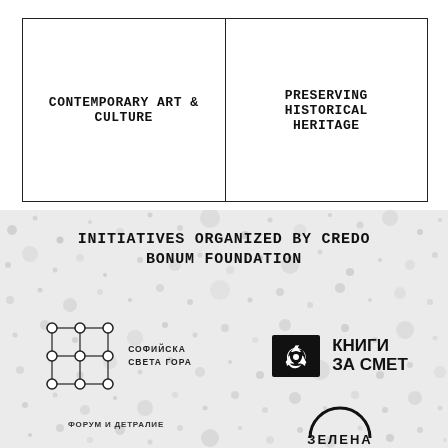CONTEMPORARY ART & CULTURE
PRESERVING HISTORICAL HERITAGE
INITIATIVES ORGANIZED BY CREDO BONUM FOUNDATION
[Figure (logo): Sofia Sveta Gora logo with geometric grid pattern and Cyrillic text СОФИЙСКА СВЕТА ГОРА]
[Figure (logo): Книги за смет (Books for Trash) logo with recycling book symbol and bold Cyrillic text]
[Figure (logo): Зелена (Green) logo with arch design]
[Figure (logo): Forum/conference logo with Cyrillic text at bottom left]